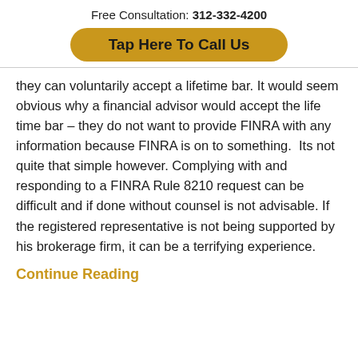Free Consultation: 312-332-4200
[Figure (other): Golden rounded rectangle button with text 'Tap Here To Call Us']
they can voluntarily accept a lifetime bar. It would seem obvious why a financial advisor would accept the life time bar – they do not want to provide FINRA with any information because FINRA is on to something. Its not quite that simple however. Complying with and responding to a FINRA Rule 8210 request can be difficult and if done without counsel is not advisable. If the registered representative is not being supported by his brokerage firm, it can be a terrifying experience.
Continue Reading